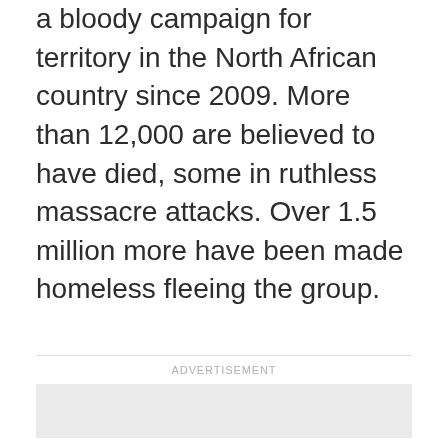a bloody campaign for territory in the North African country since 2009. More than 12,000 are believed to have died, some in ruthless massacre attacks. Over 1.5 million more have been made homeless fleeing the group.
ADVERTISEMENT
[Figure (other): Advertisement placeholder box (light gray empty rectangle)]